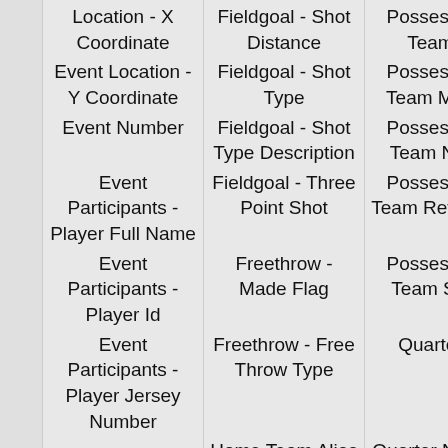|  | Column 1 | Column 2 | Column 3 |
| --- | --- | --- | --- |
|  | Location - X Coordinate | Fieldgoal - Shot Distance | Possession - Team Id |
|  | Event Location - Y Coordinate | Fieldgoal - Shot Type | Possession - Team Market |
|  | Event Number | Fieldgoal - Shot Type Description | Possession - Team Name |
|  | Event Participants - Player Full Name | Fieldgoal - Three Point Shot | Possession - Team Reference |
|  | Event Participants - Player Id | Freethrow - Made Flag | Possession - Team SR Id |
|  | Event Participants - Player Jersey Number | Freethrow - Free Throw Type | Quarter Id |
|  |  | Home Team Alias | Quarter Number |
|  |  | Home Team | Quarter Sequence Rebound |
|  |  |  | Rebound |